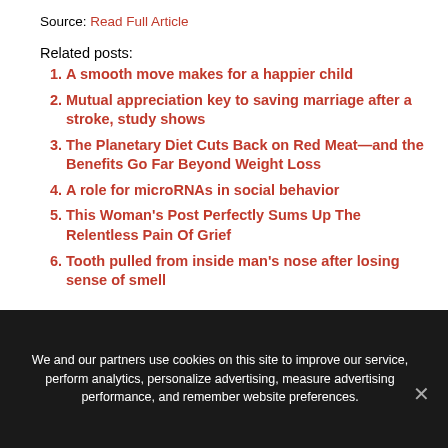Source: Read Full Article
Related posts:
A smooth move makes for a happier child
Mutual appreciation key to saving marriage after a stroke, study shows
The Planetary Diet Cuts Back on Red Meat—and the Benefits Go Far Beyond Weight Loss
A role for microRNAs in social behavior
This Woman's Post Perfectly Sums Up The Relentless Pain Of Grief
Tooth pulled from inside man's nose after losing sense of smell
We and our partners use cookies on this site to improve our service, perform analytics, personalize advertising, measure advertising performance, and remember website preferences.